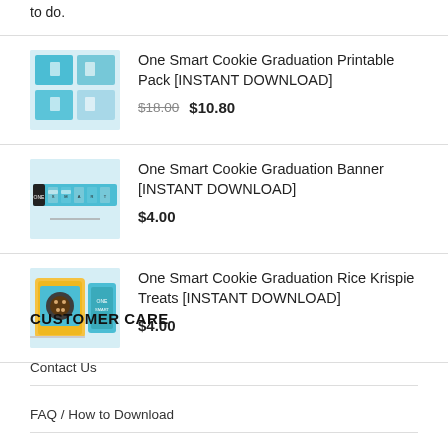to do.
One Smart Cookie Graduation Printable Pack [INSTANT DOWNLOAD] $18.00 $10.80
One Smart Cookie Graduation Banner [INSTANT DOWNLOAD] $4.00
One Smart Cookie Graduation Rice Krispie Treats [INSTANT DOWNLOAD] $4.00
CUSTOMER CARE
Contact Us
FAQ / How to Download